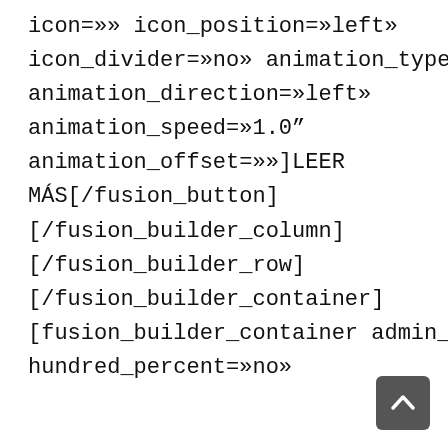icon=»» icon_position=»left»
icon_divider=»no» animation_type=»»
animation_direction=»left»
animation_speed=»1.0"
animation_offset=»»]LEER MÁS[/fusion_button]
[/fusion_builder_column]
[/fusion_builder_row]
[/fusion_builder_container]
[fusion_builder_container admin_label=»»
hundred_percent=»no»